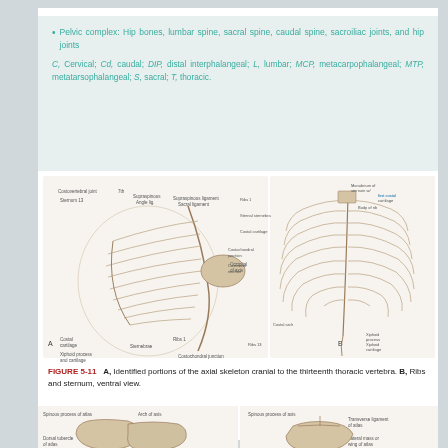Pelvic complex: Hip bones, lumbar spine, sacral spine, caudal spine, sacroiliac joints, and hip joints
C, Cervical; Cd, caudal; DIP, distal interphalangeal; L, lumbar; MCP, metacarpophalangeal; MTP, metatarsophalangeal; S, sacral; T, thoracic.
[Figure (illustration): A: Identified portions of the axial skeleton cranial to the thirteenth thoracic vertebra — lateral view of canine skeleton showing ribs, vertebrae, labeled structures. B: Ribs and sternum, ventral view of canine ribcage with labeled structures.]
FIGURE 5-11   A, Identified portions of the axial skeleton cranial to the thirteenth thoracic vertebra. B, Ribs and sternum, ventral view.
[Figure (illustration): Two anatomical diagrams showing atlas and axis vertebrae with labeled structures including spinous process of atlas, arch of axis, dorsal tubercle of atlas, transverse foramen of axis, transverse ligament of atlas, lateral mass or wing of atlas.]